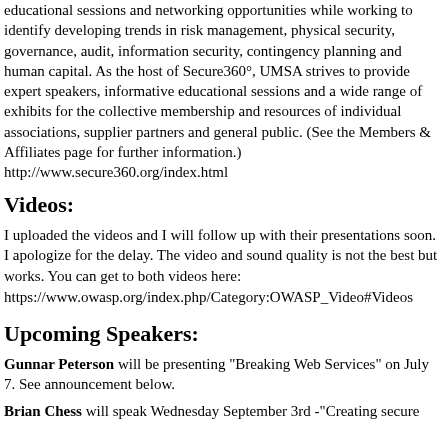educational sessions and networking opportunities while working to identify developing trends in risk management, physical security, governance, audit, information security, contingency planning and human capital. As the host of Secure360°, UMSA strives to provide expert speakers, informative educational sessions and a wide range of exhibits for the collective membership and resources of individual associations, supplier partners and general public. (See the Members & Affiliates page for further information.)
http://www.secure360.org/index.html
Videos:
I uploaded the videos and I will follow up with their presentations soon. I apologize for the delay. The video and sound quality is not the best but works. You can get to both videos here:
https://www.owasp.org/index.php/Category:OWASP_Video#Videos
Upcoming Speakers:
Gunnar Peterson will be presenting "Breaking Web Services" on July 7. See announcement below.
Brian Chess will speak Wednesday September 3rd -"Creating secure